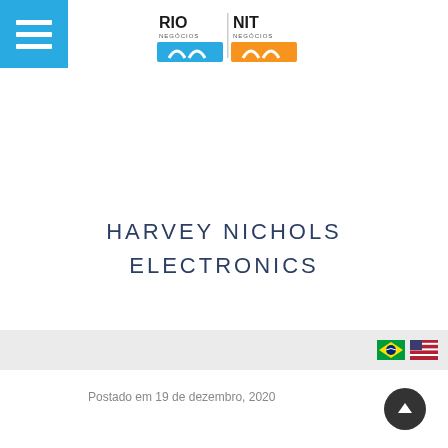[Figure (logo): RIO Negócios and NIT Negócios logos side by side — blue and orange branding with stylized arch icons]
HARVEY NICHOLS ELECTRONICS
[Figure (other): Brazilian and US flag icons for language selection]
Postado em 19 de dezembro, 2020